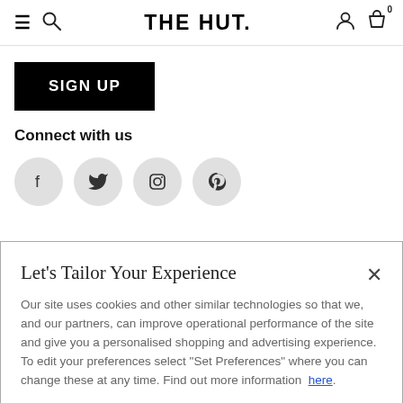THE HUT.
[Figure (screenshot): SIGN UP black button]
Connect with us
[Figure (illustration): Social media icons: Facebook, Twitter, Instagram, Pinterest in grey circles]
Let's Tailor Your Experience
Our site uses cookies and other similar technologies so that we, and our partners, can improve operational performance of the site and give you a personalised shopping and advertising experience. To edit your preferences select "Set Preferences" where you can change these at any time. Find out more information here.
Set Preferences
That's OK